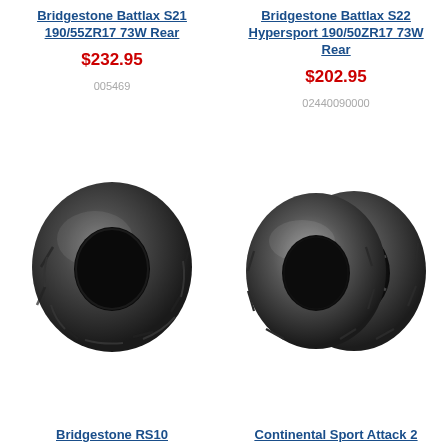Bridgestone Battlax S21 190/55ZR17 73W Rear
$232.95
Bridgestone Battlax S22 Hypersport 190/50ZR17 73W Rear
$202.95
005469
[Figure (photo): Single rear motorcycle tire - Bridgestone Battlax S21]
02440090000
[Figure (photo): Pair of motorcycle tires on wheel - Bridgestone Battlax S22 / Continental Sport Attack 2]
Bridgestone RS10
Continental Sport Attack 2